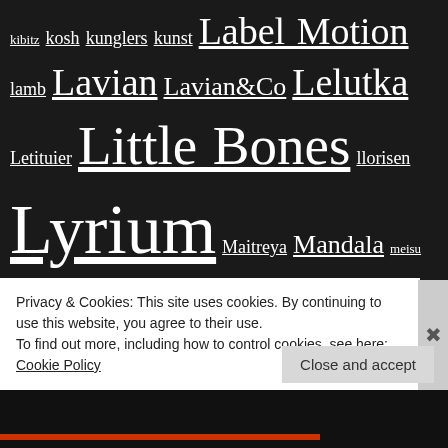kibitz kosh kunglers kunst Label Motion lamb Lavian Lavian&Co Lelutka Letituier Little Bones llorisen Lyrium Maitreya Mandala meisu Merak Method Meva MINA Monso Moon MOREA Style MudHoney Nanika Nantra Ner .Ink NewChurch no.match Nomad Opale Petite Mort PetroFF Pewpew Phedora Pixel Mode POST Pr!tty Raindale RealEvil reign Rekt revival Rowne RudeCats Serenity Style SHEY Shutter Field Soy spirit The Annex The Little
Privacy & Cookies: This site uses cookies. By continuing to use this website, you agree to their use.
To find out more, including how to control cookies, see here: Cookie Policy
Close and accept